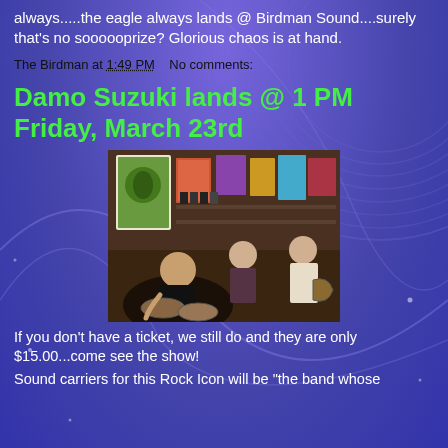always.....the eagle always lands @ Birdman Sound....surely that's no soooooprize? Glorious chaos is at hand.
The Birdman at 1:49 PM   No comments:
Damo Suzuki lands @ 1 PM Friday, March 23rd
[Figure (photo): A band playing in a small record store or music venue. A drummer is in the foreground, a bassist in the middle, and a guitarist on the right. Music posters and records cover the walls in the background.]
If you don't have a ticket, we still do and they are only $15.00...come see the show!
Sound carriers for this Rock Icon will be "the band whose